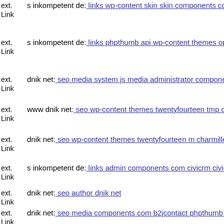ext. Link  s inkompetent de: links wp-content skin skin components com
ext. Link  s inkompetent de: links phpthumb api wp-content themes optin
ext. Link  dnik net: seo media system js media administrator components
ext. Link  www dnik net: seo wp-content themes twentyfourteen tmp dnik
ext. Link  dnik net: seo wp-content themes twentyfourteen m charmilles6
ext. Link  s inkompetent de: links admin components com civicrm civicrm
ext. Link  dnik net: seo author dnik net
ext. Link  dnik net: seo media components com b2jcontact phpthumb thu
ext. Link  s inkompetent de: links wp-content plugins wp-mobile-detector
ext. Link  dnik net: seo wp-api xmlrpc
ext. Link  dnik net: seo media system js media components com maian15
ext. Link  dnik net: seo wp-content plugins revolution-slider temp updat